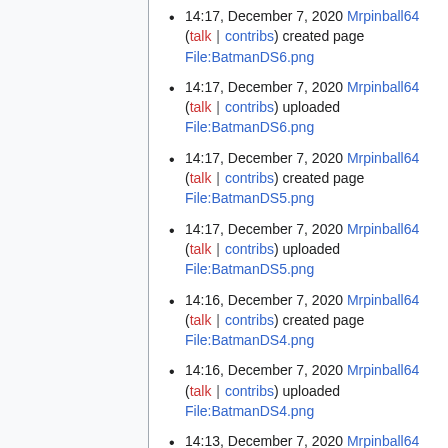14:17, December 7, 2020 Mrpinball64 (talk | contribs) created page File:BatmanDS6.png
14:17, December 7, 2020 Mrpinball64 (talk | contribs) uploaded File:BatmanDS6.png
14:17, December 7, 2020 Mrpinball64 (talk | contribs) created page File:BatmanDS5.png
14:17, December 7, 2020 Mrpinball64 (talk | contribs) uploaded File:BatmanDS5.png
14:16, December 7, 2020 Mrpinball64 (talk | contribs) created page File:BatmanDS4.png
14:16, December 7, 2020 Mrpinball64 (talk | contribs) uploaded File:BatmanDS4.png
14:13, December 7, 2020 Mrpinball64 (talk | contribs) created page